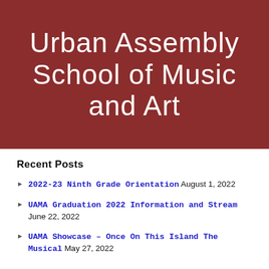Urban Assembly School of Music and Art
Recent Posts
2022-23 Ninth Grade Orientation August 1, 2022
UAMA Graduation 2022 Information and Stream June 22, 2022
UAMA Showcase – Once On This Island The Musical May 27, 2022